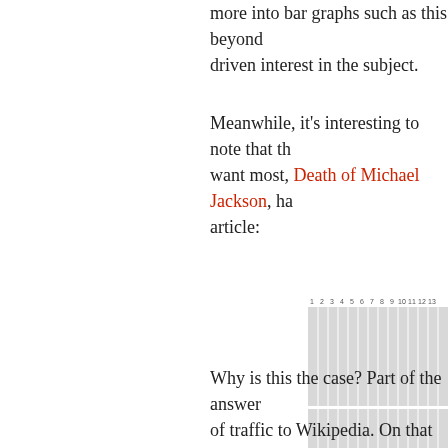more into bar graphs such as this beyond driven interest in the subject.
Meanwhile, it's interesting to note that the want most, Death of Michael Jackson, ha article:
[Figure (bar-chart): Partially visible bar chart with grey horizontal gridlines and x-axis numbers all showing 0, columns numbered 1 through 13+ across top]
Why is this the case? Part of the answer of traffic to Wikipedia. On that note, I do Jackson's official site and his Wikipedia